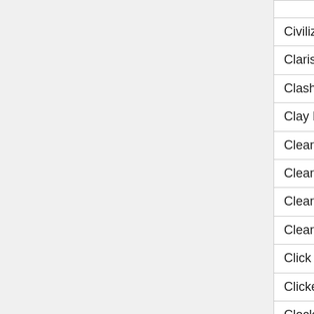| Game | Col2 | Col3 |
| --- | --- | --- |
| Civilizations Wars | N/A | N... |
| Claris Autopsy | N/A | N... |
| Clash 'n' Slash Worlds Away | N/A | N... |
| Clay Pidgeon Hunter | N/A | N... |
| Clear Vision | N/A | N... |
| Clear Vision 2 | N/A | N... |
| Clear Vision 5 | N/A | N... |
| Clear Vision: Elite | N/A | N... |
| Click Battle Madness | N/A | N... |
| Clicker Heroes | N/A | N... |
| Clockwork Cat | N/A | N... |
| Closure | Yes | p... |
| Cloud Control | N/A | N... |
| Cloud Powered Jetpack | N/A | N... |